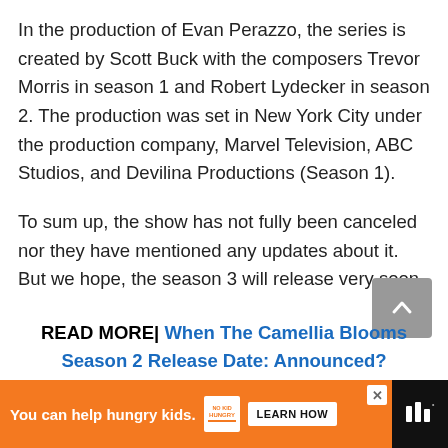In the production of Evan Perazzo, the series is created by Scott Buck with the composers Trevor Morris in season 1 and Robert Lydecker in season 2. The production was set in New York City under the production company, Marvel Television, ABC Studios, and Devilina Productions (Season 1).
To sum up, the show has not fully been canceled nor they have mentioned any updates about it. But we hope, the season 3 will release very soon.
READ MORE| When The Camellia Blooms Season 2 Release Date: Announced?
[Figure (other): Advertisement banner: orange background with 'You can help hungry kids.' text, No Kid Hungry logo, and LEARN HOW button]